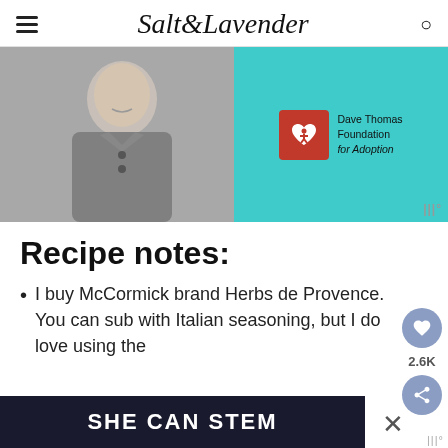Salt & Lavender
[Figure (photo): Advertisement banner: photo of a young person in a grey polo shirt on the left half, teal background on the right with Dave Thomas Foundation for Adoption logo and text]
Recipe notes:
I buy McCormick brand Herbs de Provence. You can sub with Italian seasoning, but I do love using the
[Figure (other): Bottom advertisement banner with dark background reading SHE CAN STEM]